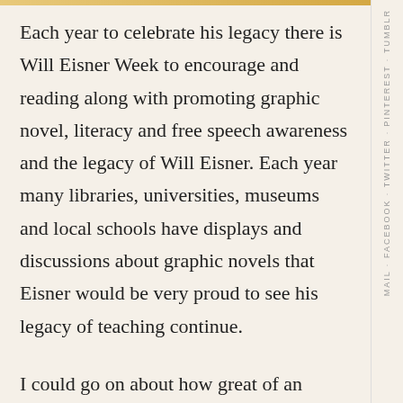Each year to celebrate his legacy there is Will Eisner Week to encourage and reading along with promoting graphic novel, literacy and free speech awareness and the legacy of Will Eisner. Each year many libraries, universities, museums and local schools have displays and discussions about graphic novels that Eisner would be very proud to see his legacy of teaching continue.
I could go on about how great of an influence he was to myself and many other but the best way to explain it is with a few samples of his vast work below. If you want to find out more about Will Eisner please visit